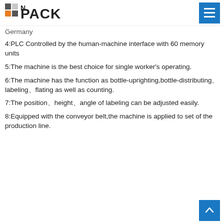N PACK
Germany
4:PLC Controlled by the human-machine interface with 60 memory units
5:The machine is the best choice for single worker's operating.
6:The machine has the function as bottle-uprighting,bottle-distributing、labeling、flating as well as counting.
7:The position、height、angle of labeling can be adjusted easily.
8:Equipped with the conveyor belt,the machine is applied to set of the production line.